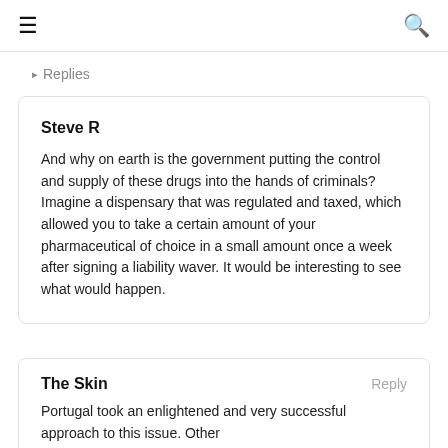≡  🔍
▸ Replies
Steve R

And why on earth is the government putting the control and supply of these drugs into the hands of criminals? Imagine a dispensary that was regulated and taxed, which allowed you to take a certain amount of your pharmaceutical of choice in a small amount once a week after signing a liability waver. It would be interesting to see what would happen.
The Skin

Portugal took an enlightened and very successful approach to this issue. Other